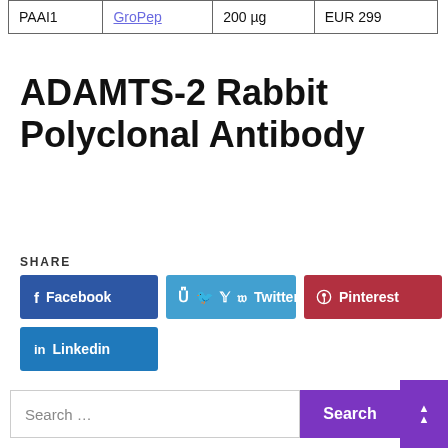|  |  |  |  |
| --- | --- | --- | --- |
| PAAI1 | GroPep | 200 µg | EUR 299 |
ADAMTS-2 Rabbit Polyclonal Antibody
SHARE
[Figure (other): Social share buttons: Facebook, Twitter, Pinterest, Linkedin]
Search …